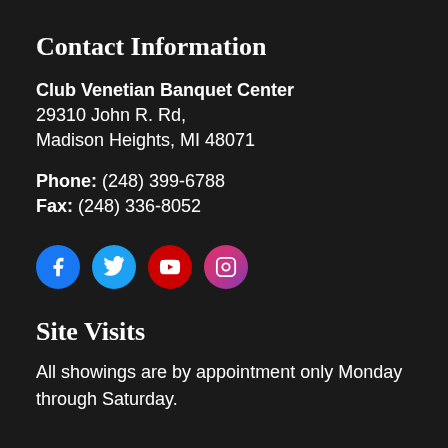Contact Information
Club Venetian Banquet Center
29310 John R. Rd,
Madison Heights, MI 48071
Phone: (248) 399-6788
Fax: (248) 336-8052
[Figure (infographic): Four social media icon circles: Facebook (blue), Twitter (light blue), YouTube (red), Instagram (pink/purple gradient)]
Site Visits
All showings are by appointment only Monday through Saturday.